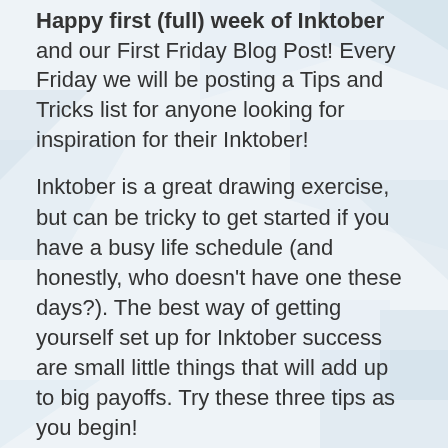Happy first (full) week of Inktober and our First Friday Blog Post! Every Friday we will be posting a Tips and Tricks list for anyone looking for inspiration for their Inktober!
Inktober is a great drawing exercise, but can be tricky to get started if you have a busy life schedule (and honestly, who doesn't have one these days?). The best way of getting yourself set up for Inktober success are small little things that will add up to big payoffs. Try these three tips as you begin!
1.) Schedule your time:
Make sure you have a good time squared away either before you go to bed, when you wake up, on your lunch break, or whenever you have a spare moment. It doesn't have to be the same time all month either, so feel free to